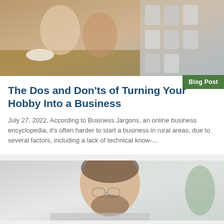[Figure (photo): Two women working in a pottery/craft studio with shelves of ceramic containers in the background]
The Dos and Don'ts of Turning Your Hobby Into a Business
July 27, 2022, According to Business Jargons, an online business encyclopedia, it's often harder to start a business in rural areas, due to several factors, including a lack of technical know-...
[Figure (photo): Man with glasses and beard smiling, working on a laptop]